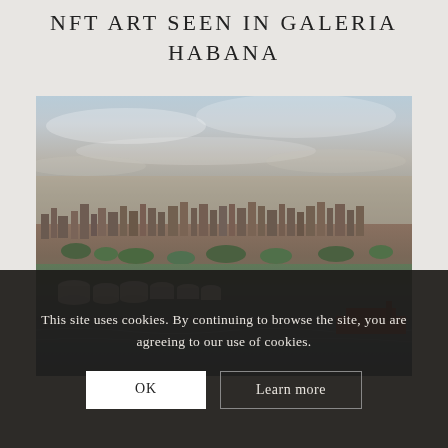NFT ART SEEN IN GALERIA HABANA
[Figure (photo): Aerial photograph of Havana, Cuba showing the city skyline with industrial tanks in the foreground, urban buildings in the middle ground, and a cloudy/hazy sky. A harbor with a ship is visible on the right side.]
This site uses cookies. By continuing to browse the site, you are agreeing to our use of cookies.
OK
Learn more